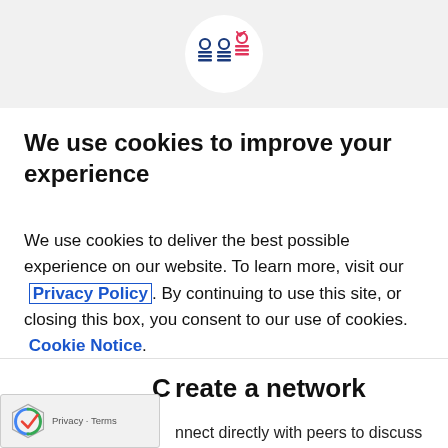[Figure (logo): Website logo with two blue person icons and one red/pink person icon with a checkmark, inside a white circle on a grey header bar]
We use cookies to improve your experience
We use cookies to deliver the best possible experience on our website. To learn more, visit our Privacy Policy. By continuing to use this site, or closing this box, you consent to our use of cookies. Cookie Notice.
Accept
Create a network
nnect directly with peers to discuss